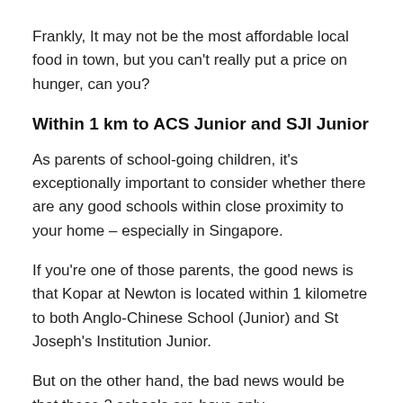Frankly, It may not be the most affordable local food in town, but you can't really put a price on hunger, can you?
Within 1 km to ACS Junior and SJI Junior
As parents of school-going children, it's exceptionally important to consider whether there are any good schools within close proximity to your home – especially in Singapore.
If you're one of those parents, the good news is that Kopar at Newton is located within 1 kilometre to both Anglo-Chinese School (Junior) and St Joseph's Institution Junior.
But on the other hand, the bad news would be that these 2 schools are boys-only.
Hence, other primary school options (which are still